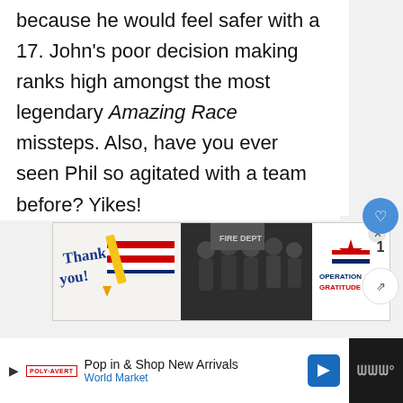because he would feel safer with a 17. John's poor decision making ranks high amongst the most legendary Amazing Race missteps. Also, have you ever seen Phil so agitated with a team before? Yikes!
[Figure (other): Advertisement banner for Operation Gratitude featuring 'Thank you!' text with American flag design on the left, a group of firefighters in the center, and the Operation Gratitude logo with a star on the right. An X close button is in the top right corner.]
[Figure (other): Bottom advertisement bar for World Market with play icon, brand logo, 'Pop in & Shop New Arrivals' text, 'World Market' link in blue, and a blue navigation arrow icon. Right side shows dark bar with 'W' logo.]